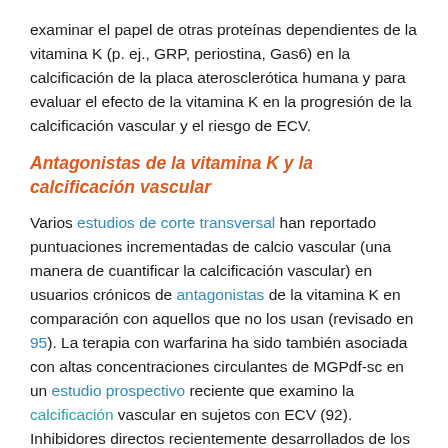examinar el papel de otras proteínas dependientes de la vitamina K (p. ej., GRP, periostina, Gas6) en la calcificación de la placa aterosclerótica humana y para evaluar el efecto de la vitamina K en la progresión de la calcificación vascular y el riesgo de ECV.
Antagonistas de la vitamina K y la calcificación vascular
Varios estudios de corte transversal han reportado puntuaciones incrementadas de calcio vascular (una manera de cuantificar la calcificación vascular) en usuarios crónicos de antagonistas de la vitamina K en comparación con aquellos que no los usan (revisado en 95). La terapia con warfarina ha sido también asociada con altas concentraciones circulantes de MGPdf-sc en un estudio prospectivo reciente que examino la calcificación vascular en sujetos con ECV (92). Inhibidores directos recientemente desarrollados de los